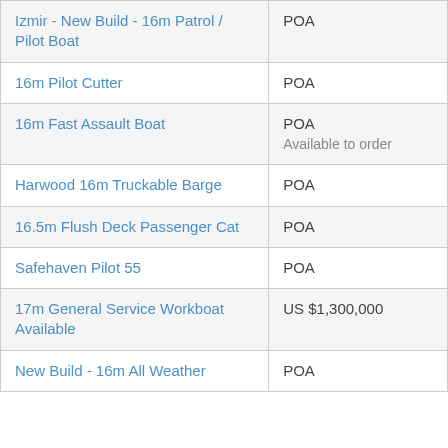| Name | Price |
| --- | --- |
| Izmir - New Build - 16m Patrol / Pilot Boat | POA |
| 16m Pilot Cutter | POA |
| 16m Fast Assault Boat | POA
Available to order |
| Harwood 16m Truckable Barge | POA |
| 16.5m Flush Deck Passenger Cat | POA |
| Safehaven Pilot 55 | POA |
| 17m General Service Workboat Available | US $1,300,000 |
| New Build - 16m All Weather | POA |